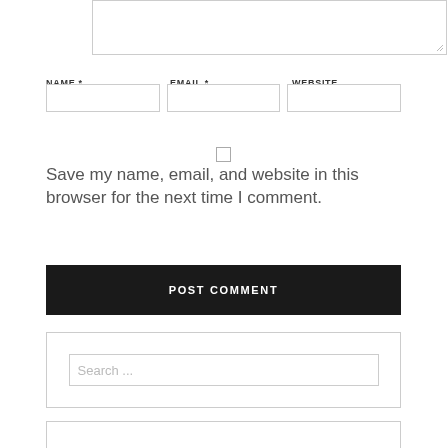[Figure (screenshot): Textarea input box (partially visible, comment field)]
NAME *
EMAIL *
WEBSITE
[Figure (screenshot): Three text input fields: Name, Email, Website]
[Figure (screenshot): Checkbox (unchecked)]
Save my name, email, and website in this browser for the next time I comment.
[Figure (screenshot): POST COMMENT button (black background, white text)]
[Figure (screenshot): Search box container with search input field placeholder 'Search ...']
[Figure (screenshot): Bottom container (partially visible)]